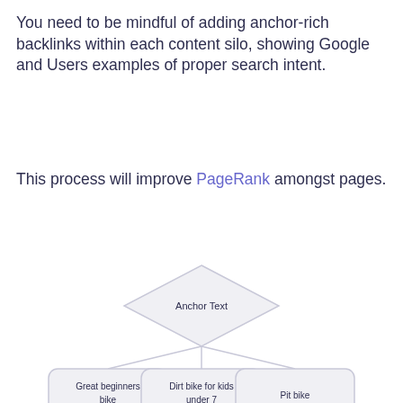You need to be mindful of adding anchor-rich backlinks within each content silo, showing Google and Users examples of proper search intent.
This process will improve PageRank amongst pages.
[Figure (flowchart): A diamond shape labeled 'Anchor Text' at the top connected by lines to three rounded rectangles below labeled 'Great beginners bike', 'Dirt bike for kids under 7', and 'Pit bike']